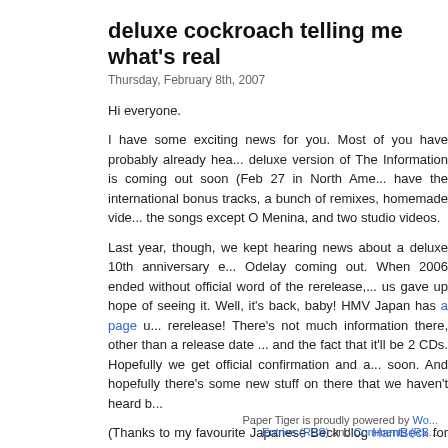deluxe cockroach telling me what's real
Thursday, February 8th, 2007
Hi everyone.
I have some exciting news for you. Most of you have probably already heard that the deluxe version of The Information is coming out soon (Feb 27 in North America). It will have the international bonus tracks, a bunch of remixes, homemade videos for most of the songs except O Menina, and two studio videos.
Last year, though, we kept hearing news about a deluxe 10th anniversary edition of Odelay coming out. When 2006 ended without official word of the rerelease, many of us gave up hope of seeing it. Well, it's back, baby! HMV Japan has a page up for the rerelease! There's not much information there, other than a release date of May 23 and the fact that it'll be 2 CDs. Hopefully we get official confirmation and a tracklist soon. And hopefully there's some new stuff on there that we haven't heard before.
(Thanks to my favourite Japanese Beck blog HamBeck for linking to this.)
Posted in Beck, News, Releases | No Comments »
Paper Tiger is proudly powered by Wo... Entries (RSS) and Comments (RS...